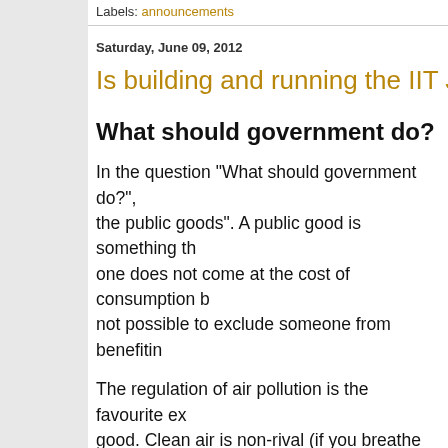Labels: announcements
Saturday, June 09, 2012
Is building and running the IIT JEE a p
What should government do?
In the question "What should government do?", the public goods". A public good is something th one does not come at the cost of consumption b not possible to exclude someone from benefitin
The regulation of air pollution is the favourite ex good. Clean air is non-rival (if you breathe clear of clean air) and non-excludable (if the air is cle from breathing it in). Indeed, nothing that one p to air pollution. Only the government can regula